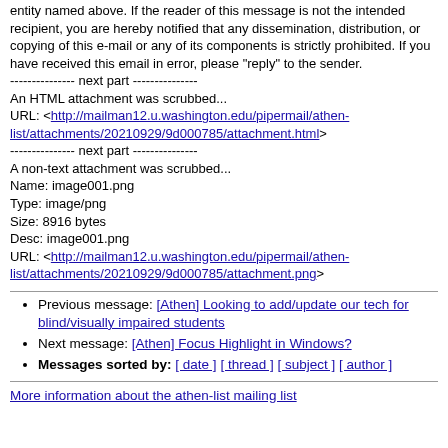entity named above. If the reader of this message is not the intended recipient, you are hereby notified that any dissemination, distribution, or copying of this e-mail or any of its components is strictly prohibited. If you have received this email in error, please "reply" to the sender.
--------------- next part ---------------
An HTML attachment was scrubbed...
URL: <http://mailman12.u.washington.edu/pipermail/athen-list/attachments/20210929/9d000785/attachment.html>
--------------- next part ---------------
A non-text attachment was scrubbed...
Name: image001.png
Type: image/png
Size: 8916 bytes
Desc: image001.png
URL: <http://mailman12.u.washington.edu/pipermail/athen-list/attachments/20210929/9d000785/attachment.png>
Previous message: [Athen] Looking to add/update our tech for blind/visually impaired students
Next message: [Athen] Focus Highlight in Windows?
Messages sorted by: [ date ] [ thread ] [ subject ] [ author ]
More information about the athen-list mailing list